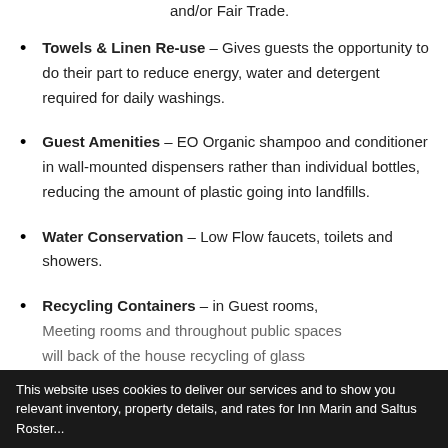and/or Fair Trade.
Towels & Linen Re-use – Gives guests the opportunity to do their part to reduce energy, water and detergent required for daily washings.
Guest Amenities – EO Organic shampoo and conditioner in wall-mounted dispensers rather than individual bottles, reducing the amount of plastic going into landfills.
Water Conservation – Low Flow faucets, toilets and showers.
Recycling Containers – in Guest rooms, Meeting rooms and throughout public spaces will back of the house recycling of glass bottles, paper, cardboard, etc.
This website uses cookies to deliver our services and to show you relevant inventory, property details, and rates for Inn Marin and Saltus Roster...